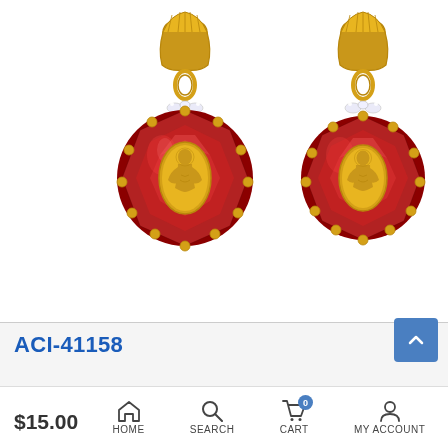[Figure (photo): Product photo of a pair of gold dangle earrings with deep red/garnet faceted gemstones featuring an oval gold Virgin Mary (Guadalupe) medallion in the center, crystal accents at the top, and gold lever-back clasps with scallop-shell design. Two earrings shown side by side on a white background.]
ACI-41158
$15.00
HOME   SEARCH   CART 0   MY ACCOUNT